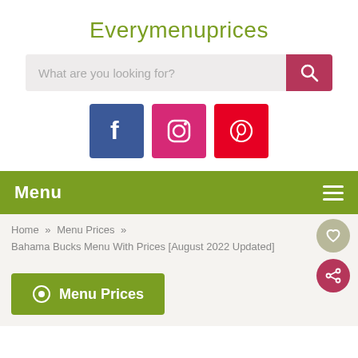Everymenuprices
[Figure (screenshot): Search bar with placeholder 'What are you looking for?' and a red search button with magnifying glass icon]
[Figure (infographic): Social media icons: Facebook (blue), Instagram (pink/gradient), Pinterest (red)]
Menu
Home » Menu Prices »
Bahama Bucks Menu With Prices [August 2022 Updated]
Menu Prices